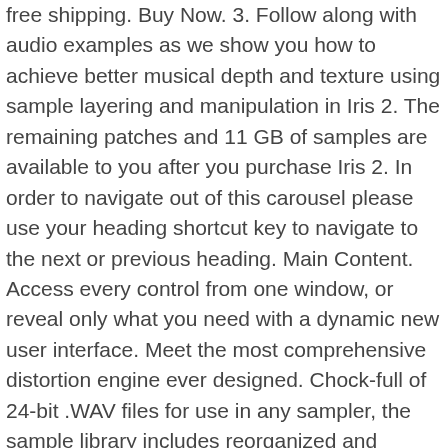free shipping. Buy Now. 3. Follow along with audio examples as we show you how to achieve better musical depth and texture using sample layering and manipulation in Iris 2. The remaining patches and 11 GB of samples are available to you after you purchase Iris 2. In order to navigate out of this carousel please use your heading shortcut key to navigate to the next or previous heading. Main Content. Access every control from one window, or reveal only what you need with a dynamic new user interface. Meet the most comprehensive distortion engine ever designed. Chock-full of 24-bit .WAV files for use in any sampler, the sample library includes reorganized and remastered samples from the original Iris+8 library, as well as 3 GB of brand new samples for Iris 2. iris 2 was inevitable since iris 1 left alot of unanswered questions. Read iris 2 reviews and iris 2 ratings – Buy iris 2 with confidence on AliExpress! 4.2 sur 5 étoiles 852. Plugin Boutique are teaming up with Beatport to offer it as an early entry to the amazing Black Friday plugin deals that are coming this year. Explore a new world of musical possibilities with Iris 2. Return to Content ... (2) Iris and Trollius plant combination (3)